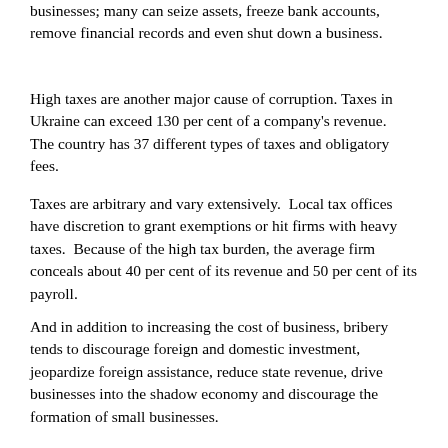businesses; many can seize assets, freeze bank accounts, remove financial records and even shut down a business.
High taxes are another major cause of corruption. Taxes in Ukraine can exceed 130 per cent of a company's revenue.  The country has 37 different types of taxes and obligatory fees.
Taxes are arbitrary and vary extensively.  Local tax offices have discretion to grant exemptions or hit firms with heavy taxes.  Because of the high tax burden, the average firm conceals about 40 per cent of its revenue and 50 per cent of its payroll.
And in addition to increasing the cost of business, bribery tends to discourage foreign and domestic investment, jeopardize foreign assistance, reduce state revenue, drive businesses into the shadow economy and discourage the formation of small businesses.
At the time of independence, the shadow economy in Ukraine made up 12 per cent of the total economy.  Now it is estimated at 50 per cent and rising, compared with 13 per cent and declining in neighbouring Poland.
While its Eastern European neighbours are booming, Ukraine's economy has declined steadily for the past